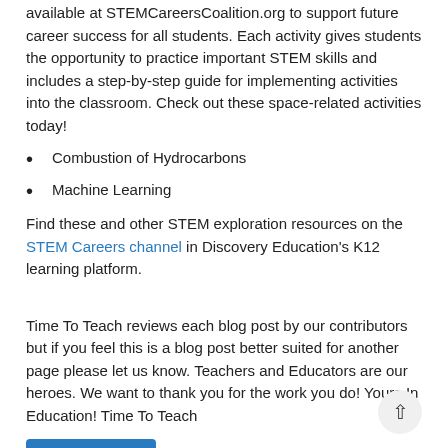available at STEMCareersCoalition.org to support future career success for all students. Each activity gives students the opportunity to practice important STEM skills and includes a step-by-step guide for implementing activities into the classroom. Check out these space-related activities today!
Combustion of Hydrocarbons
Machine Learning
Find these and other STEM exploration resources on the STEM Careers channel in Discovery Education's K12 learning platform.
Time To Teach reviews each blog post by our contributors but if you feel this is a blog post better suited for another page please let us know. Teachers and Educators are our heroes. We want to thank you for the work you do! Yours In Education! Time To Teach